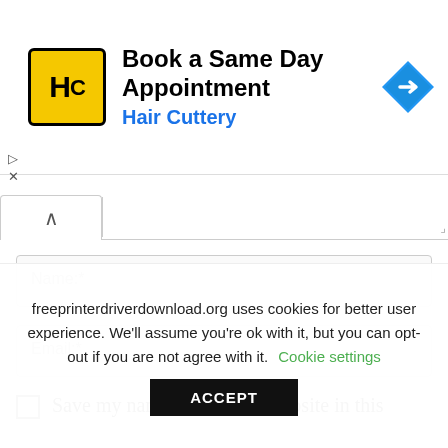[Figure (screenshot): Hair Cuttery ad banner: yellow square logo with HC, title 'Book a Same Day Appointment', subtitle 'Hair Cuttery' in blue, blue diamond navigation arrow icon on right]
[Figure (screenshot): Collapsed panel row with up-caret button and resizable text area stub]
Name:*
Email:*
Save my name, email, and website in this
freeprinterdriverdownload.org uses cookies for better user experience. We'll assume you're ok with it, but you can opt-out if you are not agree with it. Cookie settings
ACCEPT